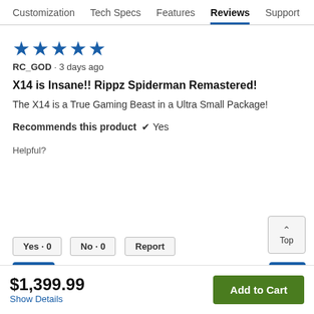Customization  Tech Specs  Features  Reviews  Support
★★★★★
RC_GOD · 3 days ago
X14 is Insane!! Rippz Spiderman Remastered!
The X14 is a True Gaming Beast in a Ultra Small Package!
Recommends this product ✔ Yes
Helpful?
Yes · 0
No · 0
Report
[Figure (logo): Blue square icon with a stylized face/cookie monster logo]
$1,399.99
Show Details